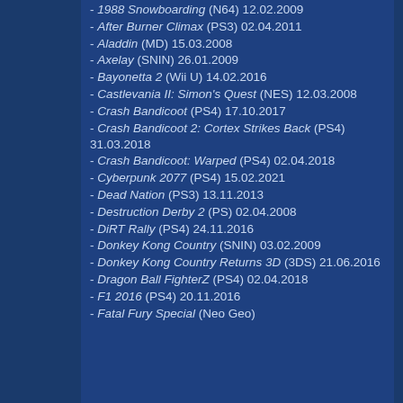1988 Snowboarding (N64) 12.02.2009
After Burner Climax (PS3) 02.04.2011
Aladdin (MD) 15.03.2008
Axelay (SNIN) 26.01.2009
Bayonetta 2 (Wii U) 14.02.2016
Castlevania II: Simon's Quest (NES) 12.03.2008
Crash Bandicoot (PS4) 17.10.2017
Crash Bandicoot 2: Cortex Strikes Back (PS4) 31.03.2018
Crash Bandicoot: Warped (PS4) 02.04.2018
Cyberpunk 2077 (PS4) 15.02.2021
Dead Nation (PS3) 13.11.2013
Destruction Derby 2 (PS) 02.04.2008
DiRT Rally (PS4) 24.11.2016
Donkey Kong Country (SNIN) 03.02.2009
Donkey Kong Country Returns 3D (3DS) 21.06.2016
Dragon Ball FighterZ (PS4) 02.04.2018
F1 2016 (PS4) 20.11.2016
Fatal Fury Special (Neo Geo)